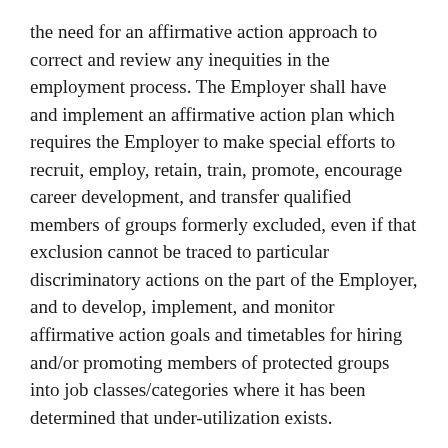the need for an affirmative action approach to correct and review any inequities in the employment process. The Employer shall have and implement an affirmative action plan which requires the Employer to make special efforts to recruit, employ, retain, train, promote, encourage career development, and transfer qualified members of groups formerly excluded, even if that exclusion cannot be traced to particular discriminatory actions on the part of the Employer, and to develop, implement, and monitor affirmative action goals and timetables for hiring and/or promoting members of protected groups into job classes/categories where it has been determined that under-utilization exists.
5.2. Groups included in the affirmative action program are those covered by federal and state regulations, and are currently women, American Indians, Asian/Pacific Islanders, Blacks, Hispanics/Latinos, Vietnam era veterans, disabled veterans, persons with disabilities